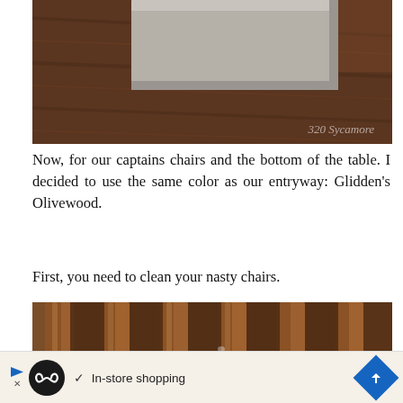[Figure (photo): Close-up of a gray material swatch sitting on a dark walnut wood surface with watermark '320 Sycamore']
Now, for our captains chairs and the bottom of the table. I decided to use the same color as our entryway: Glidden's Olivewood.
First, you need to clean your nasty chairs.
[Figure (photo): Close-up photo of wooden chair spindles/legs in a warm brown wood tone]
[Figure (other): Advertisement bar with infinity loop icon and text 'In-store shopping']